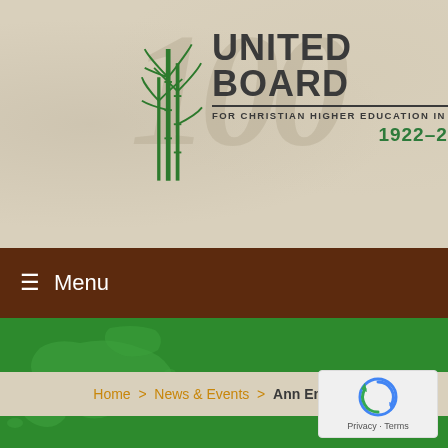[Figure (logo): United Board for Christian Higher Education in Asia logo with bamboo graphic and years 1922-2022]
≡ Menu
[Figure (map): Green map showing Japan and surrounding Asian region]
Home > News & Events > Ann English
[Figure (other): reCAPTCHA widget with Privacy and Terms links]